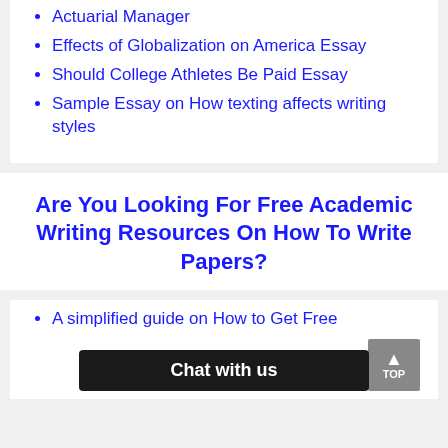Actuarial Manager
Effects of Globalization on America Essay
Should College Athletes Be Paid Essay
Sample Essay on How texting affects writing styles
Are You Looking For Free Academic Writing Resources On How To Write Papers?
A simplified guide on How to Get Free…
Chat with us